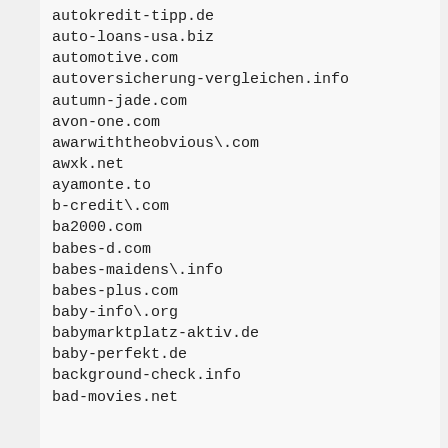autokredit-tipp.de
auto-loans-usa.biz
automotive.com
autoversicherung-vergleichen.info
autumn-jade.com
avon-one.com
awarwiththeobvious\.com
awxk.net
ayamonte.to
b-credit\.com
ba2000.com
babes-d.com
babes-maidens\.info
babes-plus.com
baby-info\.org
babymarktplatz-aktiv.de
baby-perfekt.de
background-check.info
bad-movies.net